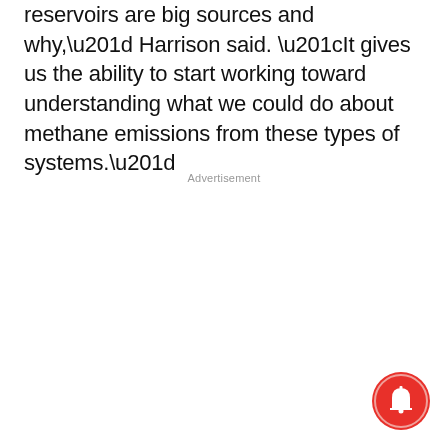reservoirs are big sources and why,” Harrison said. “It gives us the ability to start working toward understanding what we could do about methane emissions from these types of systems.”
Advertisement